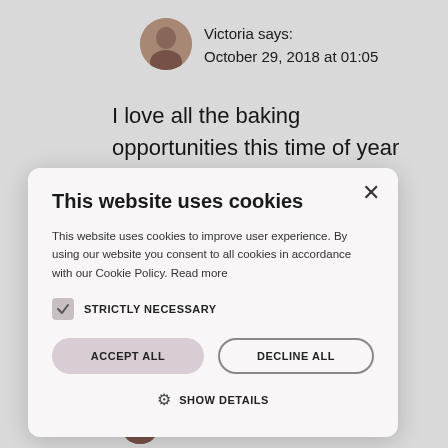[Figure (photo): Circular avatar photo of Victoria, a woman with dark hair]
Victoria says:
October 29, 2018 at 01:05
I love all the baking opportunities this time of year brings too. Thanks
This website uses cookies
This website uses cookies to improve user experience. By using our website you consent to all cookies in accordance with our Cookie Policy. Read more
STRICTLY NECESSARY
ACCEPT ALL
DECLINE ALL
SHOW DETAILS
rfect for
[Figure (photo): Circular avatar photo of Victoria at bottom]
Victoria says: